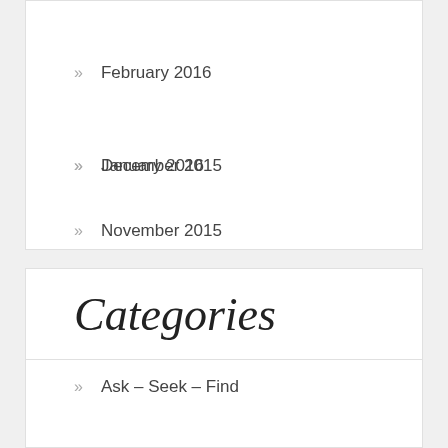February 2016
January 2016
December 2015
November 2015
Categories
Ask – Seek – Find
Bible